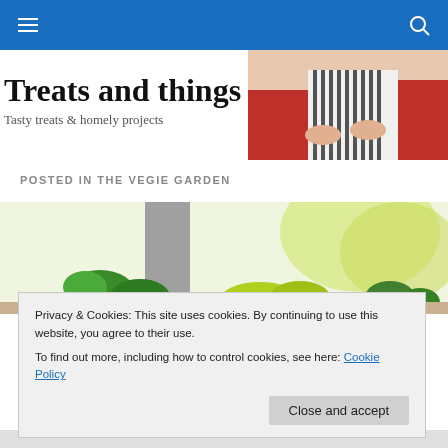Navigation bar with hamburger menu and search icon
Treats and things
Tasty treats & homely projects
[Figure (photo): Person wearing apron and holding items, cropped to upper body]
POSTED IN THE VEGIE GARDEN
[Figure (photo): Garden scene with green plants, herbs, and trees in soft light]
Privacy & Cookies: This site uses cookies. By continuing to use this website, you agree to their use.
To find out more, including how to control cookies, see here: Cookie Policy
Close and accept